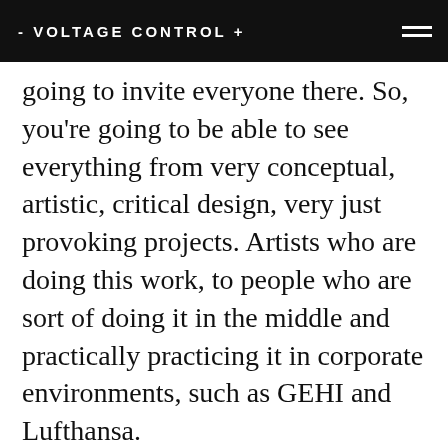- VOLTAGE CONTROL +
going to invite everyone there. So, you're going to be able to see everything from very conceptual, artistic, critical design, very just provoking projects. Artists who are doing this work, to people who are sort of doing it in the middle and practically practicing it in corporate environments, such as GEHI and Lufthansa.
So, you get a full range of the wideness of futuring and how different it can be in different settings. But the great thing is, is now we have more people working in